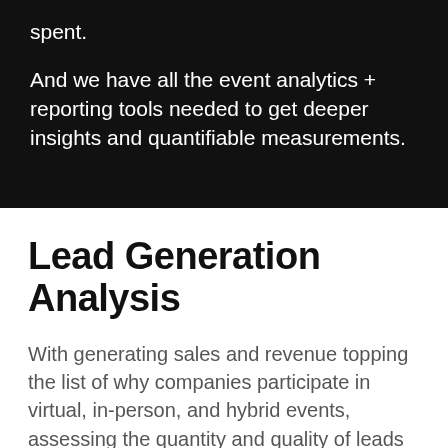spent.
And we have all the event analytics + reporting tools needed to get deeper insights and quantifiable measurements.
Lead Generation Analysis
With generating sales and revenue topping the list of why companies participate in virtual, in-person, and hybrid events, assessing the quantity and quality of leads generated is typically of